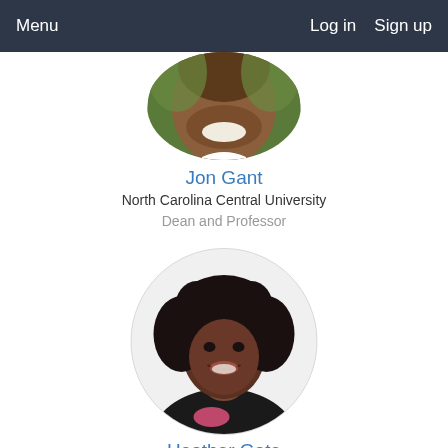Menu   Log in   Sign up
[Figure (photo): Circular cropped portrait photo of Jon Gant, partially visible (top portion cut off by page edge), an African American man smiling]
Jon Gant
North Carolina Central University
Dean and Professor
[Figure (photo): Circular portrait photo of Heather Gate, an African American woman with curly black hair, smiling, wearing a black top with pink accents, light grey circular border]
Heather Gate